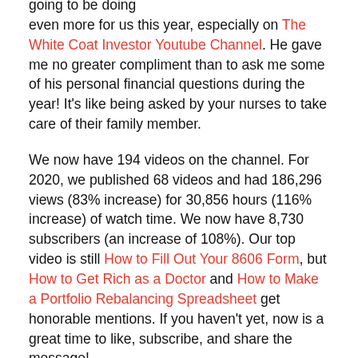going to be doing even more for us this year, especially on The White Coat Investor Youtube Channel. He gave me no greater compliment than to ask me some of his personal financial questions during the year! It's like being asked by your nurses to take care of their family member.
We now have 194 videos on the channel. For 2020, we published 68 videos and had 186,296 views (83% increase) for 30,856 hours (116% increase) of watch time. We now have 8,730 subscribers (an increase of 108%). Our top video is still How to Fill Out Your 8606 Form, but How to Get Rich as a Doctor and How to Make a Portfolio Rebalancing Spreadsheet get honorable mentions. If you haven't yet, now is a great time to like, subscribe, and share the message!
Social Media